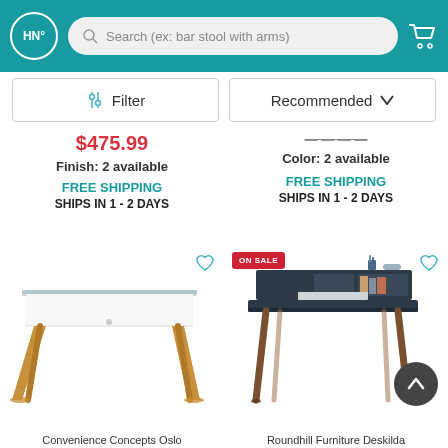HN° — Search (ex: bar stool with arms)
Filter | Recommended
$475.99
Finish: 2 available
FREE SHIPPING
SHIPS IN 1 - 2 DAYS
Color: 2 available
FREE SHIPPING
SHIPS IN 1 - 2 DAYS
[Figure (photo): White modern desk with glass top and wooden angled legs (Convenience Concepts Oslo desk)]
[Figure (photo): Dark navy/charcoal desk with upper shelf and wooden legs (Roundhill Furniture Deskilda), marked ON SALE]
Convenience Concepts Oslo
Roundhill Furniture Deskilda